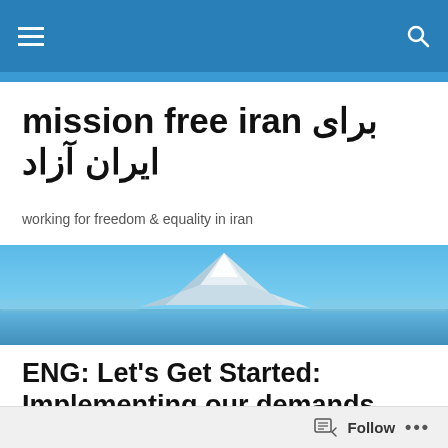mission free iran برای ایران آزاد — navigation bar
mission free iran برای ایران آزاد
working for freedom & equality in iran
[Figure (photo): Snow-capped mountain peak reflected in calm blue water under a blue sky]
ENG: Let's Get Started: Implementing our demands regarding the Commission on Women's Status
Follow